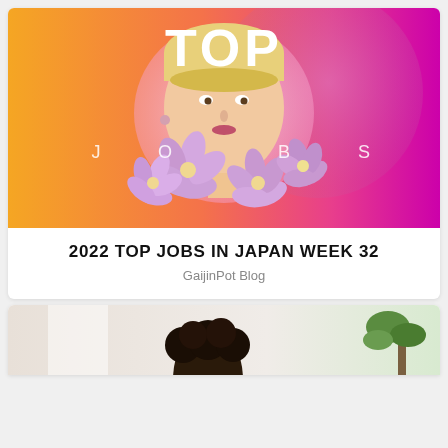[Figure (illustration): Colorful gradient banner with 'TOP JOBS' text, a blonde woman's face centered in a translucent circle, surrounded by purple flowers (plumeria). Background transitions from orange/yellow on left to hot pink/magenta on right.]
2022 TOP JOBS IN JAPAN WEEK 32
GaijinPot Blog
[Figure (photo): Partial view of a second card below, showing a person with curly dark hair and a plant in the background, suggesting another blog article.]